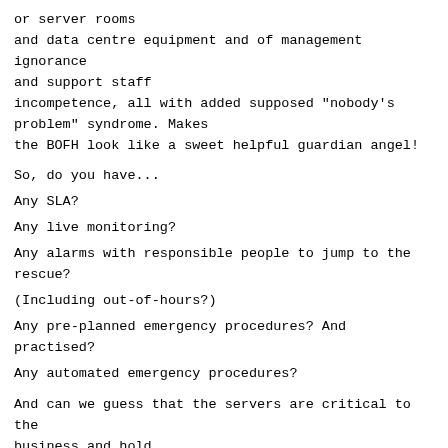or server rooms
and data centre equipment and of management ignorance
and support staff
incompetence, all with added supposed "nobody's
problem" syndrome. Makes
the BOFH look like a sweet helpful guardian angel!
So, do you have...
Any SLA?
Any live monitoring?
Any alarms with responsible people to jump to the
rescue?
(Including out-of-hours?)
Any pre-planned emergency procedures? And practised?
Any automated emergency procedures?
And can we guess that the servers are critical to the
business and hold
all the live work?
Is your (ignorant) management (in their ignorance)
aware of the
responsibility that comes (literally/literally)